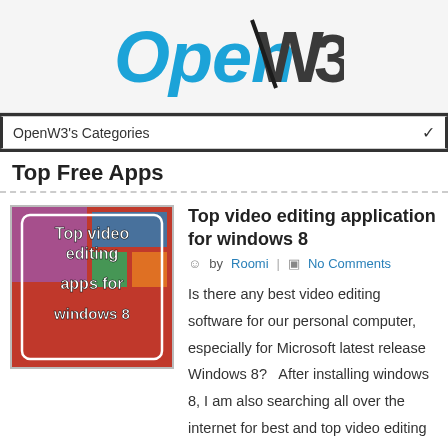[Figure (logo): OpenW3 logo with blue and dark grey stylized text]
OpenW3's Categories
Top Free Apps
[Figure (screenshot): Thumbnail image showing 'Top video editing apps for windows 8' text on a colorful Windows 8 tablet screen]
Top video editing application for windows 8
by Roomi | No Comments
Is there any best video editing software for our personal computer, especially for Microsoft latest release  Windows 8?   After installing windows 8, I am also searching all over the internet for best and top video editing softwares. And finally ...